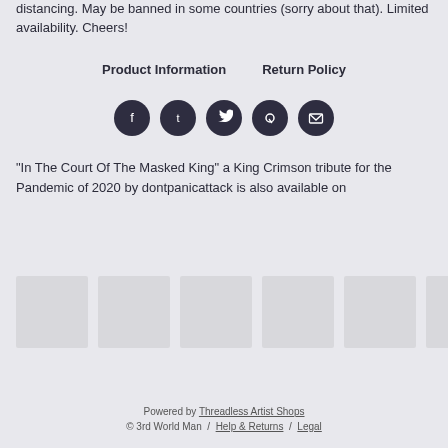distancing. May be banned in some countries (sorry about that). Limited availability. Cheers!
Product Information    Return Policy
[Figure (other): Social media share icons: Facebook, Tumblr, Twitter, Pinterest, Email]
"In The Court Of The Masked King" a King Crimson tribute for the Pandemic of 2020 by dontpanicattack is also available on
[Figure (other): Six product thumbnail images shown as grey placeholder boxes]
Powered by Threadless Artist Shops
© 3rd World Man / Help & Returns / Legal